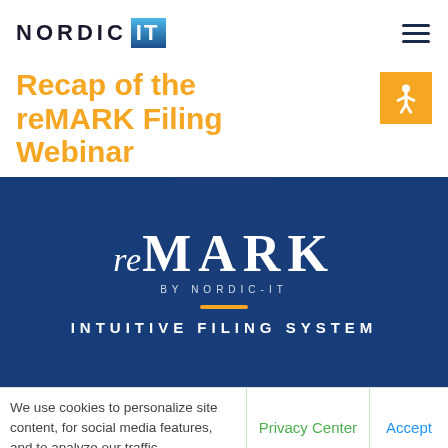NORDIC IT
Recap of the reMARK Filing Webinar
[Figure (screenshot): reMARK by Nordic-IT product logo on a dark blue background with a blurred person in the background. The logo shows 'reMARK' in large white serif/italic lettering, 'BY NORDIC-IT' below it, an orange horizontal line, and the text 'INTUITIVE FILING SYSTEM' at the bottom.]
We use cookies to personalize site content, for social media features, and to analyze our traffic.
Privacy Center
Accept